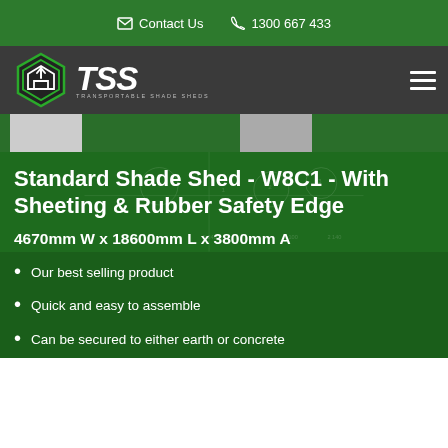Contact Us   1300 667 433
[Figure (logo): TSS - Transportable Shade Sheds logo with hexagonal house icon in green and white]
[Figure (photo): Partial product images visible in image strip]
Standard Shade Shed - W8C1 - With Sheeting & Rubber Safety Edge
4670mm W x 18600mm L x 3800mm A
Our best selling product
Quick and easy to assemble
Can be secured to either earth or concrete